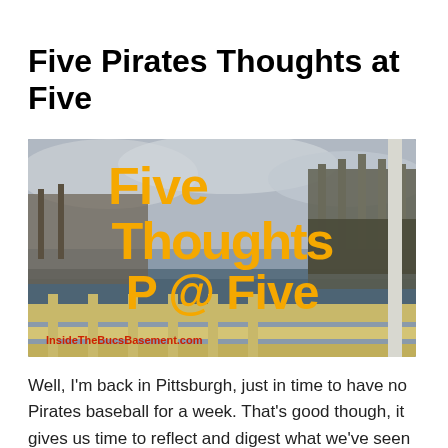Five Pirates Thoughts at Five
[Figure (photo): Composite image showing PNC Park (Pittsburgh Pirates baseball stadium) viewed from a bridge over the river, with a golden/yellow bridge railing in the foreground and cloudy sky. Overlaid in large bold orange/gold text: 'Five Thoughts P @ Five' with 'InsideTheBucsBasement.com' in red text at the bottom left.]
Well, I'm back in Pittsburgh, just in time to have no Pirates baseball for a week. That's good though, it gives us time to reflect and digest what we've seen thus far